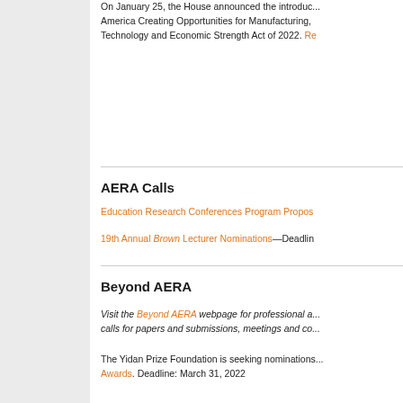On January 25, the House announced the introduction of the America Creating Opportunities for Manufacturing, Pre-Eminence in Technology and Economic Strength Act of 2022. Re...
AERA Calls
Education Research Conferences Program Propos...
19th Annual Brown Lecturer Nominations—Deadlin...
Beyond AERA
Visit the Beyond AERA webpage for professional a... calls for papers and submissions, meetings and co...
The Yidan Prize Foundation is seeking nominations... Awards. Deadline: March 31, 2022